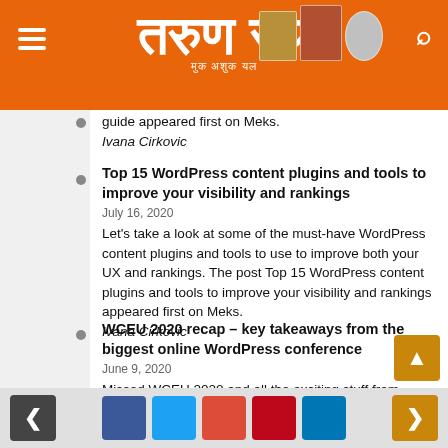Tarun Ratha — magazine website header with logo, hamburger menu, search icon
guide appeared first on Meks.
Ivana Cirkovic
Top 15 WordPress content plugins and tools to improve your visibility and rankings
July 16, 2020
Let's take a look at some of the must-have WordPress content plugins and tools to use to improve both your UX and rankings. The post Top 15 WordPress content plugins and tools to improve your visibility and rankings appeared first on Meks.
Ivana Cirkovic
WCEU 2020 recap – key takeaways from the biggest online WordPress conference
June 9, 2020
Missed WCEU 2020 and all the exciting stuff from there? Here are all the key takeaways and main points to remember so, take notes! The post WCEU 2020 recap –
Navigation and social share buttons